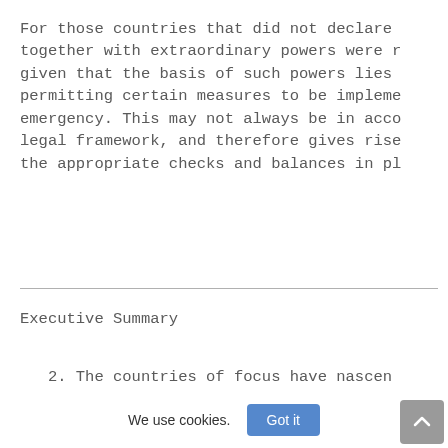For those countries that did not declare
together with extraordinary powers were r
given that the basis of such powers lies
permitting certain measures to be impleme
emergency. This may not always be in acco
legal framework, and therefore gives rise
the appropriate checks and balances in pl
Executive Summary
2. The countries of focus have nascen